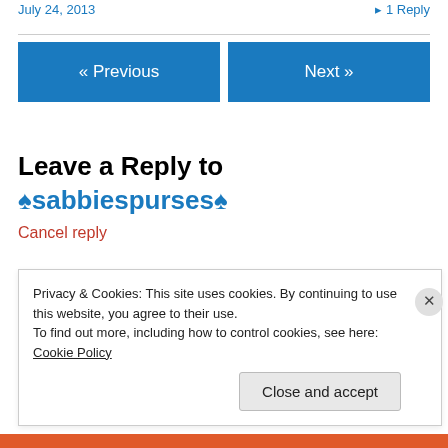July 24, 2013   ▸ 1 Reply
« Previous   Next »
Leave a Reply to ♠sabbiespurses♠
Cancel reply
Your email address will not be published. Required fields are marked *
Privacy & Cookies: This site uses cookies. By continuing to use this website, you agree to their use.
To find out more, including how to control cookies, see here: Cookie Policy
Close and accept